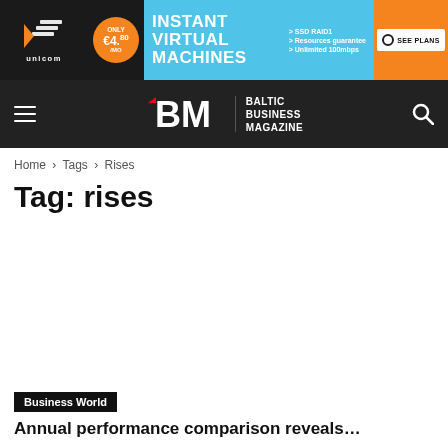[Figure (infographic): Unicom advertisement banner for Instant Virtual Machines. Shows Unicom logo on black background, orange circle with 'ONLY €4.80/MO', blue section with 'INSTANT VIRTUAL MACHINES' text, bullet points '>SSD RAID1', '>Resources guarantee', '>Unlimited 100mbps', and orange section with 'SEE PLANS' button.]
BM | BALTIC BUSINESS MAGAZINE
Home › Tags › Rises
Tag: rises
Business World
Annual performance comparison reveals...